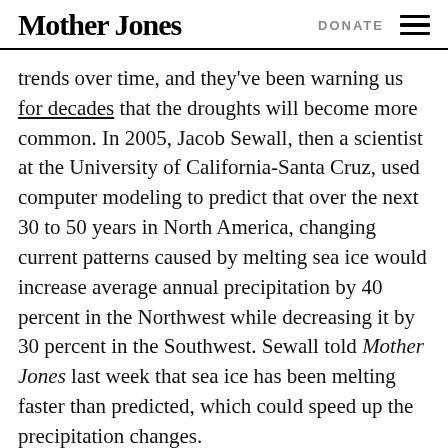Mother Jones | DONATE
trends over time, and they've been warning us for decades that the droughts will become more common. In 2005, Jacob Sewall, then a scientist at the University of California-Santa Cruz, used computer modeling to predict that over the next 30 to 50 years in North America, changing current patterns caused by melting sea ice would increase average annual precipitation by 40 percent in the Northwest while decreasing it by 30 percent in the Southwest. Sewall told Mother Jones last week that sea ice has been melting faster than predicted, which could speed up the precipitation changes.
With the recent rain, is it possible to make up the